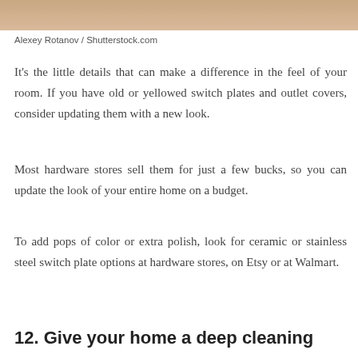[Figure (photo): Partial photo strip at top of page, showing warm beige/skin tones]
Alexey Rotanov / Shutterstock.com
It's the little details that can make a difference in the feel of your room. If you have old or yellowed switch plates and outlet covers, consider updating them with a new look.
Most hardware stores sell them for just a few bucks, so you can update the look of your entire home on a budget.
To add pops of color or extra polish, look for ceramic or stainless steel switch plate options at hardware stores, on Etsy or at Walmart.
12. Give your home a deep cleaning